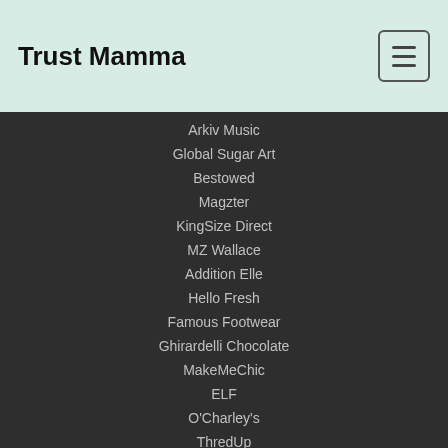Trust Mamma
Arkiv Music
Global Sugar Art
Bestowed
Magzter
KingSize Direct
MZ Wallace
Addition Elle
Hello Fresh
Famous Footwear
Ghirardelli Chocolate
MakeMeChic
ELF
O'Charley's
ThredUp
Mikes Dive Store